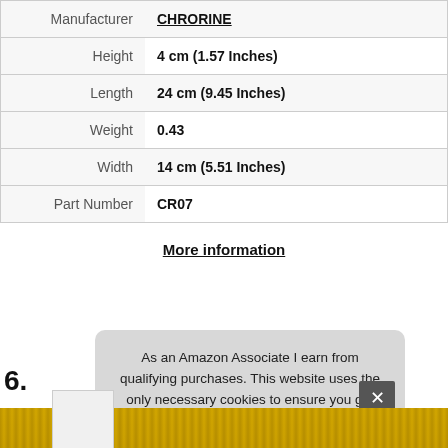|  |  |
| --- | --- |
| Manufacturer | CHRORINE |
| Height | 4 cm (1.57 Inches) |
| Length | 24 cm (9.45 Inches) |
| Weight | 0.43 |
| Width | 14 cm (5.51 Inches) |
| Part Number | CR07 |
More information
6.
As an Amazon Associate I earn from qualifying purchases. This website uses the only necessary cookies to ensure you get the best experience on our website. More information